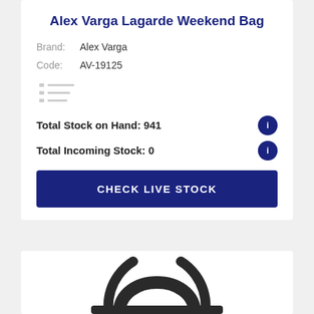Alex Varga Lagarde Weekend Bag
Brand:  Alex Varga
Code:   AV-19125
Total Stock on Hand: 941
Total Incoming Stock: 0
[Figure (other): CHECK LIVE STOCK button]
[Figure (photo): Partial view of a black weekend bag showing handles]